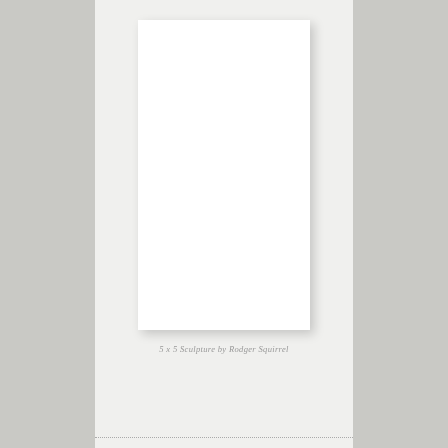[Figure (photo): A white blank rectangular card or paper displayed against a light linen/canvas textured background, with a subtle drop shadow.]
5 x 5 Sculpture by Rodger Squirrel